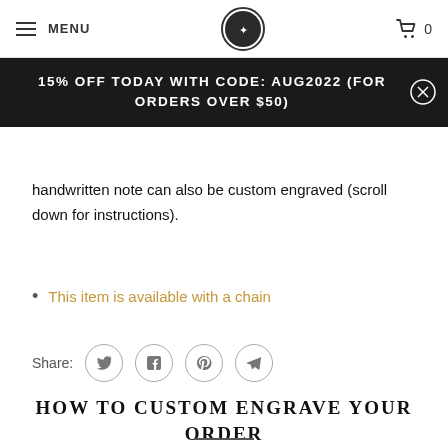MENU | [logo] | cart 0
15% OFF TODAY WITH CODE: AUG2022 (FOR ORDERS OVER $50)
handwritten note can also be custom engraved (scroll down for instructions).
This item is available with a chain
Share:
HOW TO CUSTOM ENGRAVE YOUR ORDER